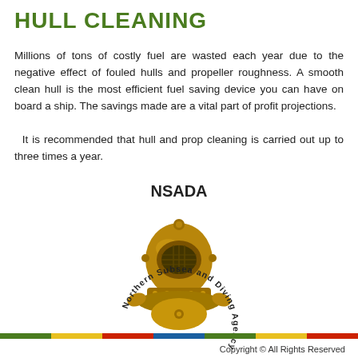HULL CLEANING
Millions of tons of costly fuel are wasted each year due to the negative effect of fouled hulls and propeller roughness. A smooth clean hull is the most efficient fuel saving device you can have on board a ship. The savings made are a vital part of profit projections.

It is recommended that hull and prop cleaning is carried out up to three times a year.
[Figure (logo): NSADA Northern Subsea and Diving Agency logo featuring a vintage diving helmet in bronze/gold color with circular text reading 'Northern Subsea and Diving Agency']
Copyright © All Rights Reserved